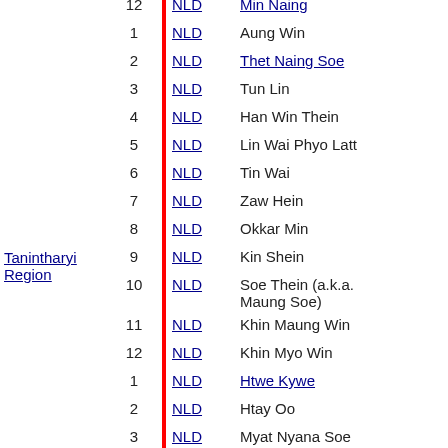| Region | No. | Party | Name |
| --- | --- | --- | --- |
|  | 12 | NLD | Min Naing |
|  | 1 | NLD | Aung Win |
|  | 2 | NLD | Thet Naing Soe |
|  | 3 | NLD | Tun Lin |
|  | 4 | NLD | Han Win Thein |
|  | 5 | NLD | Lin Wai Phyo Latt |
| Tanintharyi Region | 6 | NLD | Tin Wai |
|  | 7 | NLD | Zaw Hein |
|  | 8 | NLD | Okkar Min |
|  | 9 | NLD | Kin Shein |
|  | 10 | NLD | Soe Thein (a.k.a. Maung Soe) |
|  | 11 | NLD | Khin Maung Win |
|  | 12 | NLD | Khin Myo Win |
|  | 1 | NLD | Htwe Kywe |
|  | 2 | NLD | Htay Oo |
|  | 3 | NLD | Myat Nyana Soe |
|  | 4 | NLD | Than Soe (a.k.a. Than Soe (Economics)) |
| Yangon Region | 5 | NLD | Ba Myo Thein |
|  | 6 | NLD | Aung Thu |